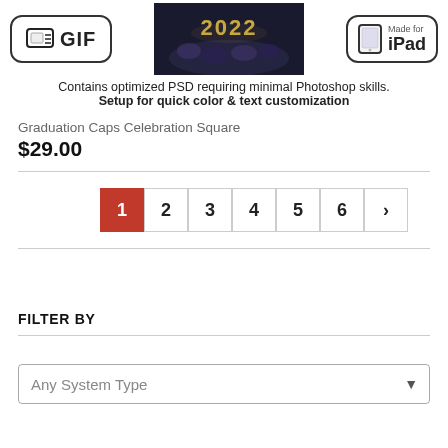[Figure (screenshot): Top banner showing GIF icon on left, dark event photo with '2022' text in center, and 'Made for iPad' badge on right]
Contains optimized PSD requiring minimal Photoshop skills. Setup for quick color & text customization
Graduation Caps Celebration Square
$29.00
[Figure (infographic): Pagination bar with pages 1 (active, red), 2, 3, 4, 5, 6, and next arrow]
FILTER BY
Any System Type